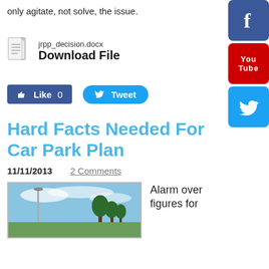only agitate, not solve, the issue.
[Figure (other): Facebook social media icon button (blue)]
[Figure (other): YouTube social media icon button (red)]
[Figure (other): Twitter social media icon button (blue)]
jrpp_decision.docx
Download File
[Figure (other): Like 0 button (Facebook blue) and Tweet button (Twitter blue)]
Hard Facts Needed For Car Park Plan
11/11/2013    2 Comments
[Figure (photo): Outdoor photo showing a park or open area with trees and sky]
Alarm over figures for